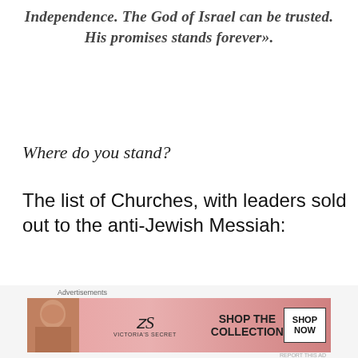Independence. The God of Israel can be trusted. His promises stands forever».
Where do you stand?
The list of Churches, with leaders sold out to the anti-Jewish Messiah:
[Figure (screenshot): Jetpack advertisement banner: green background with Jetpack logo and 'Secure Your Site' button]
[Figure (screenshot): Victoria's Secret advertisement banner: pink background with model, VS logo, 'SHOP THE COLLECTION' text and 'SHOP NOW' button]